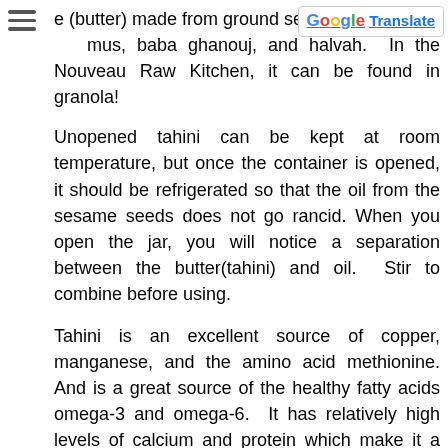e (butter) made from ground sesame seeds. mus, baba ghanouj, and halvah. In the Nouveau Raw Kitchen, it can be found in granola!
Unopened tahini can be kept at room temperature, but once the container is opened, it should be refrigerated so that the oil from the sesame seeds does not go rancid. When you open the jar, you will notice a separation between the butter(tahini) and oil. Stir to combine before using.
Tahini is an excellent source of copper, manganese, and the amino acid methionine. And is a great source of the healthy fatty acids omega-3 and omega-6. It has relatively high levels of calcium and protein which make it a useful addition to vegetarian and vegan diets, as well as to raw food diets when eaten in its unroasted form. Compared to peanut butter, Tahini has higher levels of fiber and calcium and lower levels of sugar and saturated fats. And is a great alternative for those who are allergic to nuts.
Keep in mind that different brands of tahini can taste dramatically different. So if you want to try it for the first time...